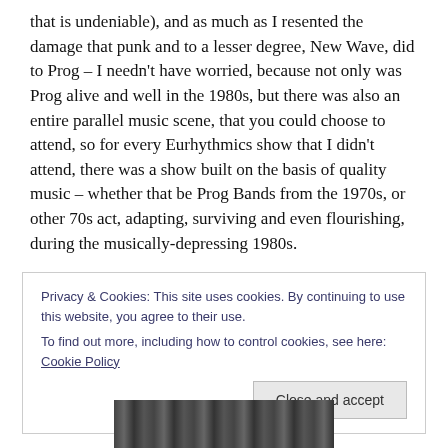that is undeniable), and as much as I resented the damage that punk and to a lesser degree, New Wave, did to Prog – I needn't have worried, because not only was Prog alive and well in the 1980s, but there was also an entire parallel music scene, that you could choose to attend, so for every Eurhythmics show that I didn't attend, there was a show built on the basis of quality music – whether that be Prog Bands from the 1970s, or other 70s act, adapting, surviving and even flourishing, during the musically-depressing 1980s.
Privacy & Cookies: This site uses cookies. By continuing to use this website, you agree to their use.
To find out more, including how to control cookies, see here: Cookie Policy
[Figure (photo): Black and white photo strip partially visible at the bottom of the page]